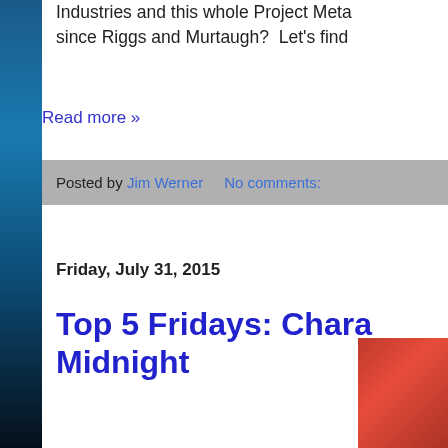Industries and this whole Project Meta... since Riggs and Murtaugh?  Let's find...
Read more »
Posted by Jim Werner    No comments:
Friday, July 31, 2015
Top 5 Fridays: Chara... Midnight
[Figure (photo): Partial image showing red/orange background, bottom right corner]